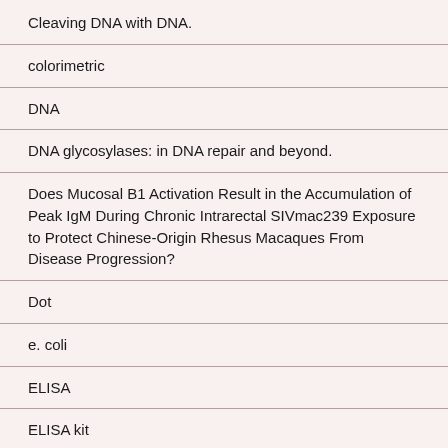Cleaving DNA with DNA.
colorimetric
DNA
DNA glycosylases: in DNA repair and beyond.
Does Mucosal B1 Activation Result in the Accumulation of Peak IgM During Chronic Intrarectal SIVmac239 Exposure to Protect Chinese-Origin Rhesus Macaques From Disease Progression?
Dot
e. coli
ELISA
ELISA kit